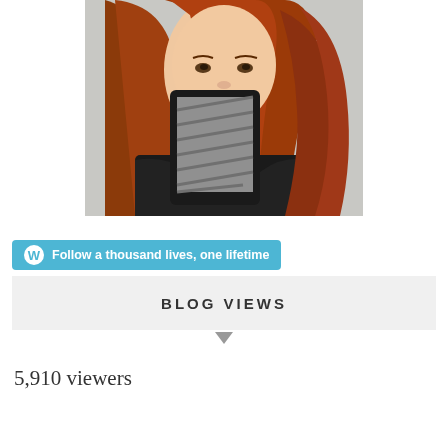[Figure (photo): Young woman with long red hair holding up a Kindle e-reader device showing a textured pattern on the screen, wearing a dark jacket, photographed against a light gray background]
Follow a thousand lives, one lifetime
BLOG VIEWS
5,910 viewers